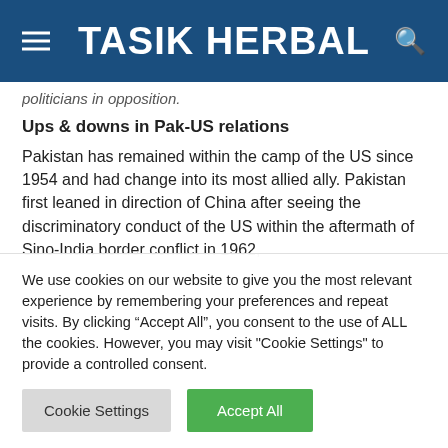TASIK HERBAL
politicians in opposition.
Ups & downs in Pak-US relations
Pakistan has remained within the camp of the US since 1954 and had change into its most allied ally. Pakistan first leaned in direction of China after seeing the discriminatory conduct of the US within the aftermath of Sino-India border conflict in 1962,
We use cookies on our website to give you the most relevant experience by remembering your preferences and repeat visits. By clicking “Accept All”, you consent to the use of ALL the cookies. However, you may visit "Cookie Settings" to provide a controlled consent.